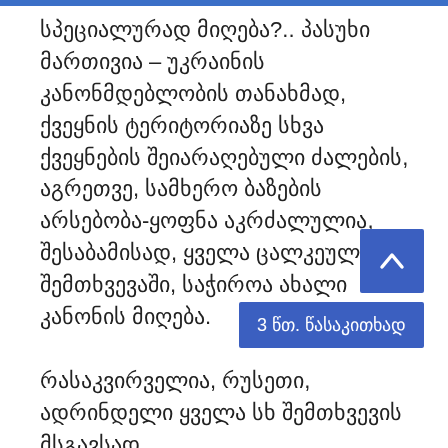სპეციალურად მიღება?.. პასუხი მართივია – უკრაინის კანონმდებლობის თანახმად, ქვეყნის ტერიტორიაზე სხვა ქვეყნების შეიარაღებული ძალების, აგრეთვე, სამხერო ბაზების არსებობა-ყოფნა აკრძალულია, შესაბამისად, ყველა ცალკეულ შემთხვევაში, საჭიროა ახალი კანონის მიღება.
რასაკვირველია, რუსეთი, ადრინდელი ყველა სხ შემთხვევის მსგავსად,
[Figure (other): Blue square button with white upward arrow icon]
3 წთ. წასაკითხად